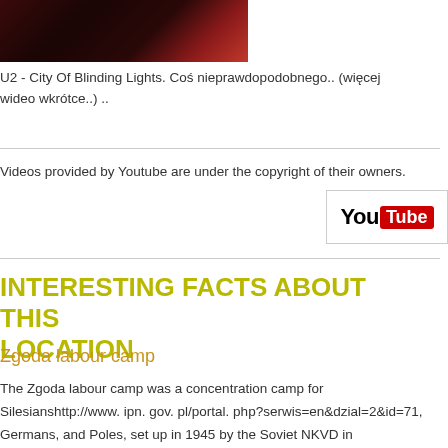[Figure (photo): Dark concert/event photo with red lighting effects, partially cropped at top of page]
U2 - City Of Blinding Lights. Coś nieprawdopodobnego.. (więcej wideo wkrótce..) ..
Videos provided by Youtube are under the copyright of their owners.
[Figure (logo): YouTube logo: 'You' in black and 'Tube' in white on red background, inside a bordered box]
INTERESTING FACTS ABOUT THIS LOCATION
Zgoda labour camp
The Zgoda labour camp was a concentration camp for Silesianshttp://www. ipn. gov. pl/portal. php?serwis=en&dzial=2&id=71, Germans, and Poles, set up in 1945 by the Soviet NKVD in Świętochłowice, Silesia. It was controlled by the communist secret police until its closure by the Stalinist authorities of Poland in November of the